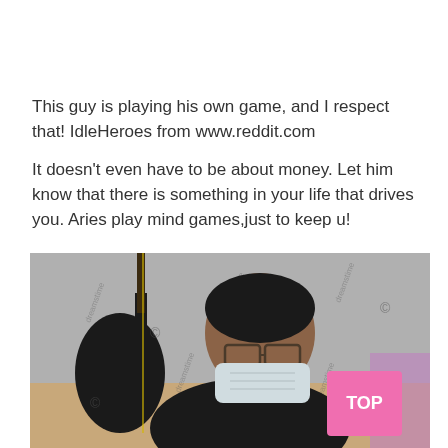This guy is playing his own game, and I respect that! IdleHeroes from www.reddit.com

It doesn't even have to be about money. Let him know that there is something in your life that drives you. Aries play mind games,just to keep u!
[Figure (photo): A man wearing glasses and a face mask, leaning over what appears to be a phone or device, with a guitar visible in the background. Dreamstime watermarks visible throughout. A pink 'TOP' button in the bottom right corner.]